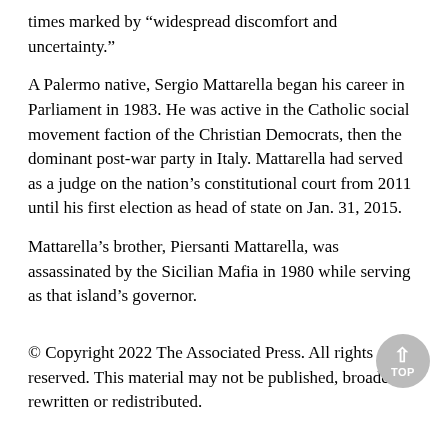times marked by “widespread discomfort and uncertainty.”
A Palermo native, Sergio Mattarella began his career in Parliament in 1983. He was active in the Catholic social movement faction of the Christian Democrats, then the dominant post-war party in Italy. Mattarella had served as a judge on the nation’s constitutional court from 2011 until his first election as head of state on Jan. 31, 2015.
Mattarella’s brother, Piersanti Mattarella, was assassinated by the Sicilian Mafia in 1980 while serving as that island’s governor.
© Copyright 2022 The Associated Press. All rights reserved. This material may not be published, broadcast, rewritten or redistributed.
Special Links:
Women Over 35 May Burn Extra Fat by Doing This. Try Tonight!
Fight Back Against Biden’s Failing Economy with HonestLoans
Big Belly? Keto Weight Loss Pill Helps Burn